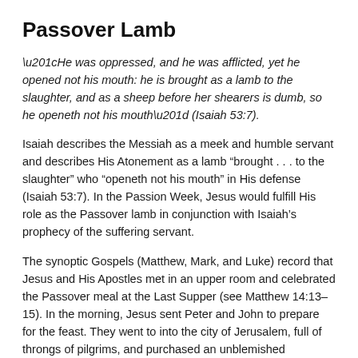Passover Lamb
“He was oppressed, and he was afflicted, yet he opened not his mouth: he is brought as a lamb to the slaughter, and as a sheep before her shearers is dumb, so he openeth not his mouth” (Isaiah 53:7).
Isaiah describes the Messiah as a meek and humble servant and describes His Atonement as a lamb “brought . . . to the slaughter” who “openeth not his mouth” in His defense (Isaiah 53:7). In the Passion Week, Jesus would fulfill His role as the Passover lamb in conjunction with Isaiah’s prophecy of the suffering servant.
The synoptic Gospels (Matthew, Mark, and Luke) record that Jesus and His Apostles met in an upper room and celebrated the Passover meal at the Last Supper (see Matthew 14:13–15). In the morning, Jesus sent Peter and John to prepare for the feast. They went to into the city of Jerusalem, full of throngs of pilgrims, and purchased an unblemished Passover lamb which they took to the temple. As it was customary for the offerer to kill the animal, one of the Apostles slit the throat of the bound lamb and passed him to the priest, who caught the blood in a basin and splashed it against the altar—reminiscent